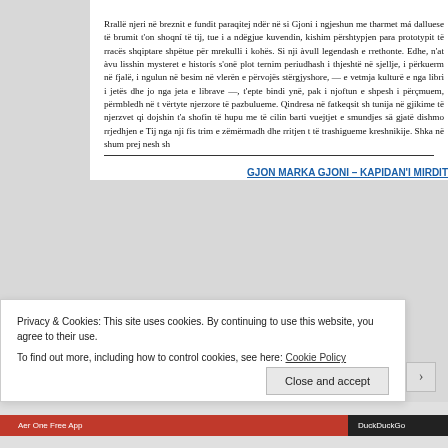Rrallë njeri në breznit e fundit paraqitej ndër në si Gjoni i ngjeshun me tharmet má dalluese të brumit t'onë shoqní të tij, tue i a ndëgjue kuvendin, kishim përshtypjen para prototypit të rracës shqiptare shpëtue për mrekulli i kohës. Si nji àvull legendash e rrethonte. Edhe, n'at àvu lisshin mysteret e historís s'onë plot ternim periudhash i thjeshtë në sjellje, i përkuerm në fjalë, i ngulun në besim në vlerën e përvojës stërgjyshore, — e vetmja kulturë e nga libri i jetës dhe jo nga jeta e librave —, t'epte bindi ynë, pak i njoftun e shpesh i përçmuem, përmbledh në t vërtyte njerzore të pazbulueme. Qindresa në fatkeqsit sht tunija në gjikime të njerzvet qi dojshin t'a shofin të hupu me të cilin barti vuejtjet e smundjes sä gjatë dishmo rrjedhjen e Tij nga nji fis trim e zëmërmadh dhe rritjen t të trashigueme kreshnikije. Shka në shum prej nesh sh
GJON MARKA GJONI – KAPIDAN'I MIRDIT
Privacy & Cookies: This site uses cookies. By continuing to use this website, you agree to their use.
To find out more, including how to control cookies, see here: Cookie Policy